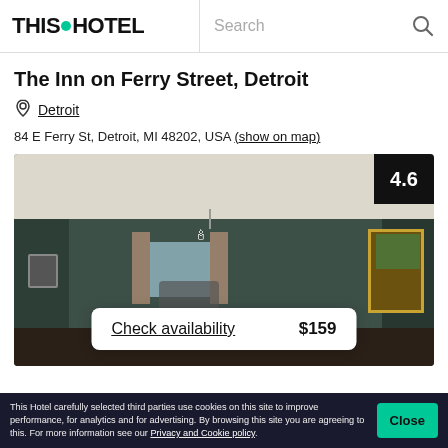THIS HOTEL | Search
The Inn on Ferry Street, Detroit
Detroit
84 E Ferry St, Detroit, MI 48202, USA (show on map)
[Figure (photo): Interior hotel room photo with chandelier, dark green walls, and a decorative painting. Rating badge showing 4.6 in upper right corner. Check availability button overlay showing $159.]
This Hotel carefully selected third parties use cookies on this site to improve performance, for analytics and for advertising. By browsing this site you are agreeing to this. For more information see our Privacy and Cookie policy.